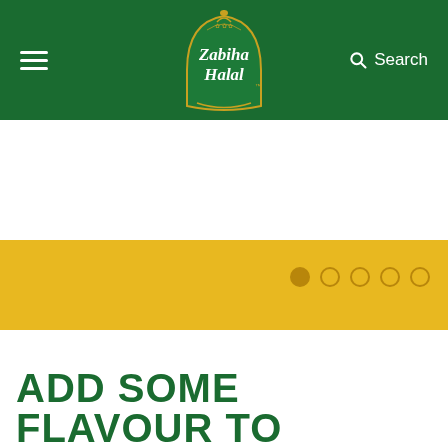Zabiha Halal — Navigation bar with hamburger menu, logo, and search
[Figure (screenshot): Yellow hero banner with carousel navigation dots (5 dots, first active)]
ADD SOME FLAVOUR TO YOUR INBOX